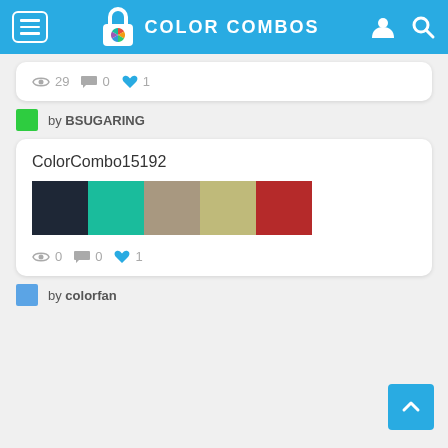COLOR COMBOS
29  0  1
by BSUGARING
ColorCombo15192
[Figure (infographic): Five color swatches: dark navy, teal/turquoise, tan/beige, olive/khaki, crimson red]
0  0  1
by colorfan